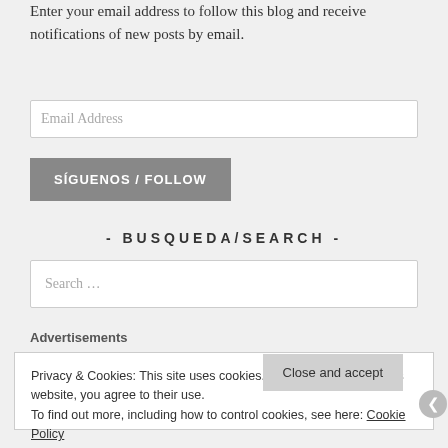Enter your email address to follow this blog and receive notifications of new posts by email.
[Figure (screenshot): Email Address input field (empty, placeholder text visible)]
[Figure (screenshot): SIGUENOS / FOLLOW button in grey]
- BUSQUEDA/SEARCH -
[Figure (screenshot): Search ... input field]
Advertisements
Privacy & Cookies: This site uses cookies. By continuing to use this website, you agree to their use. To find out more, including how to control cookies, see here: Cookie Policy
Close and accept